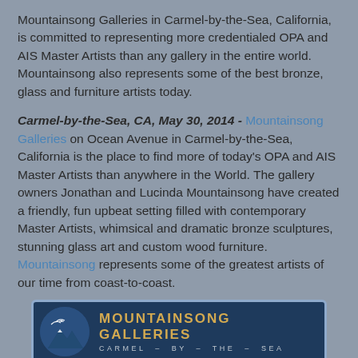Mountainsong Galleries in Carmel-by-the-Sea, California, is committed to representing more credentialed OPA and AIS Master Artists than any gallery in the entire world. Mountainsong also represents some of the best bronze, glass and furniture artists today.
Carmel-by-the-Sea, CA, May 30, 2014 - Mountainsong Galleries on Ocean Avenue in Carmel-by-the-Sea, California is the place to find more of today's OPA and AIS Master Artists than anywhere in the World. The gallery owners Jonathan and Lucinda Mountainsong have created a friendly, fun upbeat setting filled with contemporary Master Artists, whimsical and dramatic bronze sculptures, stunning glass art and custom wood furniture. Mountainsong represents some of the greatest artists of our time from coast-to-coast.
[Figure (logo): Mountainsong Galleries logo with circular mountain/bird image on dark blue background with gold text 'MOUNTAINSONG GALLERIES' and subtitle 'CARMEL – BY – THE – SEA'. Below: italic bold text 'We have the Dream Team of Master Artists']
The gallery has announced the First in the World OPA Masters Only Show in July. For the very first time in OPA's